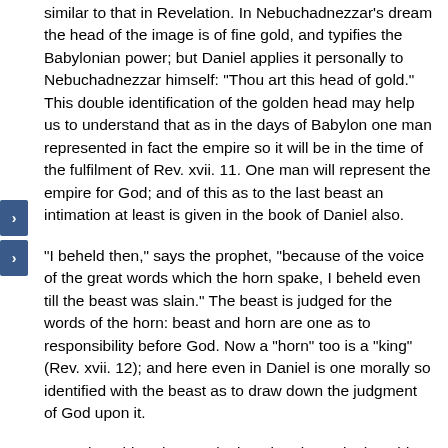similar to that in Revelation. In Nebuchadnezzar's dream the head of the image is of fine gold, and typifies the Babylonian power; but Daniel applies it personally to Nebuchadnezzar himself: "Thou art this head of gold." This double identification of the golden head may help us to understand that as in the days of Babylon one man represented in fact the empire so it will be in the time of the fulfilment of Rev. xvii. 11. One man will represent the empire for God; and of this as to the last beast an intimation at least is given in the book of Daniel also.
"I beheld then," says the prophet, "because of the voice of the great words which the horn spake, I beheld even till the beast was slain." The beast is judged for the words of the horn: beast and horn are one as to responsibility before God. Now a "horn" too is a "king" (Rev. xvii. 12); and here even in Daniel is one morally so identified with the beast as to draw down the judgment of God upon it.
More than this, when we look at the picture in the Old Testament we find this horn to be an eleventh horn